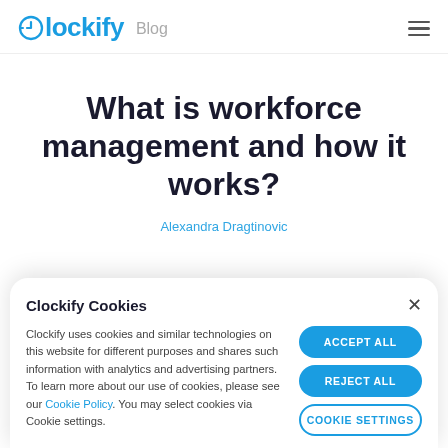Clockify Blog
What is workforce management and how it works?
Alexandra Dragtinovic
Clockify Cookies

Clockify uses cookies and similar technologies on this website for different purposes and shares such information with analytics and advertising partners. To learn more about our use of cookies, please see our Cookie Policy. You may select cookies via Cookie settings.

ACCEPT ALL
REJECT ALL
COOKIE SETTINGS
But, what exactly is workforce management?